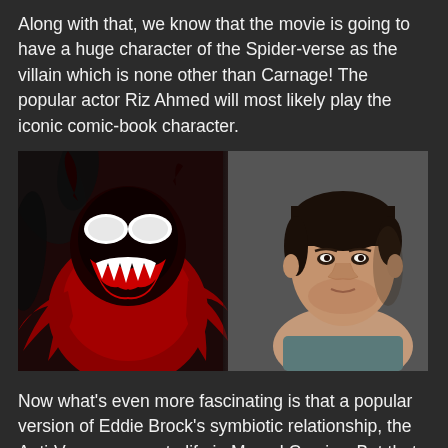Along with that, we know that the movie is going to have a huge character of the Spider-verse as the villain which is none other than Carnage! The popular actor Riz Ahmed will most likely play the iconic comic-book character.
[Figure (photo): Split composite image: left side shows Carnage, a Marvel villain with red and black symbiote body, white glowing eyes, and a wide grinning mouth with sharp teeth, against a dark red and black background with tentacle-like tendrils. Right side shows actor Riz Ahmed, a young South Asian man with dark hair, looking upward against a grey background.]
Now what's even more fascinating is that a popular version of Eddie Brock's symbiotic relationship, the Anti-Venom, came to life in Marvel Comics. But that is not just it...